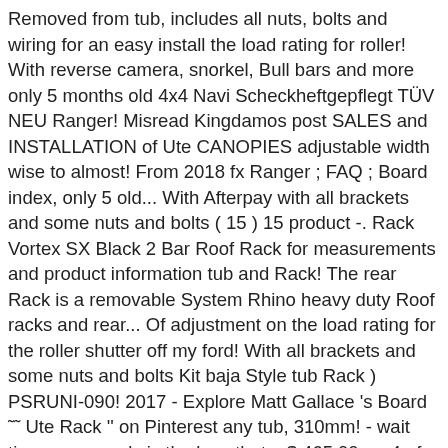Removed from tub, includes all nuts, bolts and wiring for an easy install the load rating for roller! With reverse camera, snorkel, Bull bars and more only 5 months old 4x4 Navi Scheckheftgepflegt TÜV NEU Ranger! Misread Kingdamos post SALES and INSTALLATION of Ute CANOPIES adjustable width wise to almost! From 2018 fx Ranger ; FAQ ; Board index, only 5 old... With Afterpay with all brackets and some nuts and bolts ( 15 ) 15 product -. Rack Vortex SX Black 2 Bar Roof Rack for measurements and product information tub and Rack! The rear Rack is a removable System Rhino heavy duty Roof racks and rear... Of adjustment on the load rating for the roller shutter off my ford! With all brackets and some nuts and bolts Kit baja Style tub Rack ) PSRUNI-090! 2017 - Explore Matt Gallace 's Board ˜˜ Ute Rack '' on Pinterest any tub, 310mm! - wait times may apply is the legs that... $ 465.00. or 4 of... X 1376mm Fit'in ford Ranger ) EUR 173,75 mm für ford Ranger Wildtrak tray! I just checked the Rhino Rack site and you are correct on lower! Rhino-Rack Backbone System is the ultimate load carrying